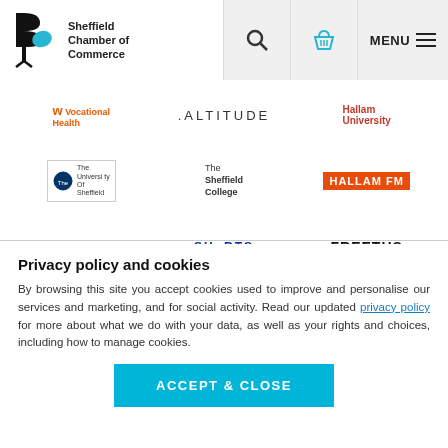[Figure (logo): Sheffield Chamber of Commerce logo with B-shaped leaf icon and navigation bar with search, basket, and menu icons]
[Figure (logo): Grid of sponsor logos: Vocational Health, Altitude, Hallam University, University of Sheffield, The Sheffield College, Hallam FM, Fragomen, Shorts, Freeths, SEO Works, Highlander Computing Solutions, St Luke's]
Privacy policy and cookies
By browsing this site you accept cookies used to improve and personalise our services and marketing, and for social activity. Read our updated privacy policy for more about what we do with your data, as well as your rights and choices, including how to manage cookies.